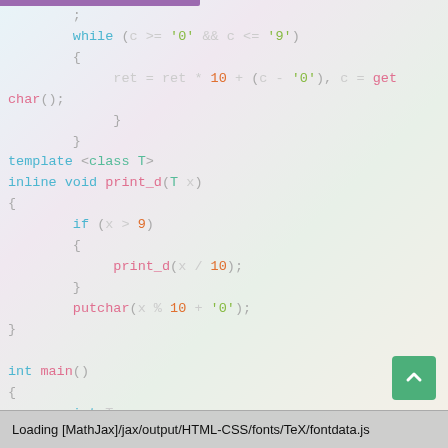[Figure (screenshot): Code editor screenshot showing C++ code with syntax highlighting on an anime-style background. Code includes while loop, template, print_d function, and main function with scan_d and while(T--).]
Loading [MathJax]/jax/output/HTML-CSS/fonts/TeX/fontdata.js